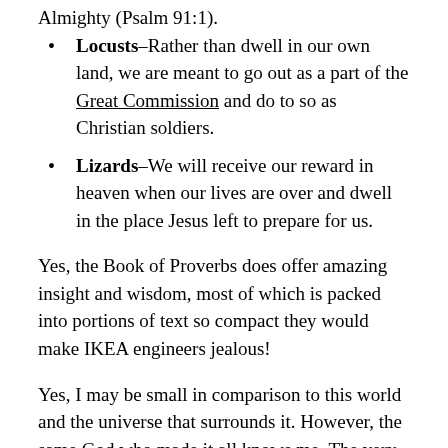Almighty (Psalm 91:1).
Locusts–Rather than dwell in our own land, we are meant to go out as a part of the Great Commission and do to so as Christian soldiers.
Lizards–We will receive our reward in heaven when our lives are over and dwell in the place Jesus left to prepare for us.
Yes, the Book of Proverbs does offer amazing insight and wisdom, most of which is packed into portions of text so compact they would make IKEA engineers jealous!
Yes, I may be small in comparison to this world and the universe that surrounds it. However, the same God who made it all knows me. The very hairs on my head are numbered by Him, and nothing escapes His